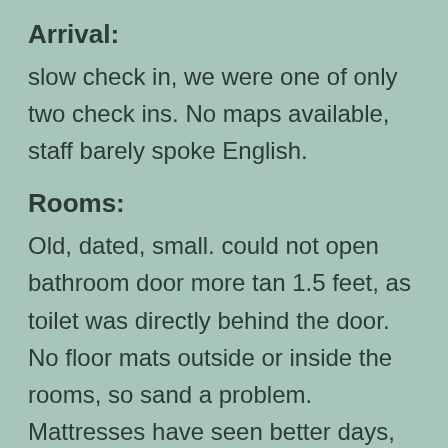Arrival:
slow check in, we were one of only two check ins. No maps available, staff barely spoke English.
Rooms:
Old, dated, small. could not open bathroom door more tan 1.5 feet, as toilet was directly behind the door. No floor mats outside or inside the rooms, so sand a problem. Mattresses have seen better days, and need to be retired. only bedding available was a sheet, and a thin bed cover. had to ask for blankets, which unfortunately, the maid kept removing